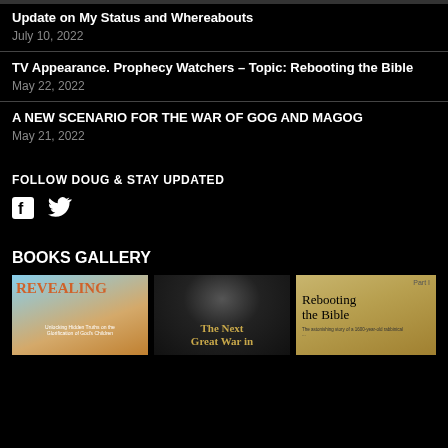Update on My Status and Whereabouts
July 10, 2022
TV Appearance. Prophecy Watchers – Topic: Rebooting the Bible
May 22, 2022
A NEW SCENARIO FOR THE WAR OF GOG AND MAGOG
May 21, 2022
FOLLOW DOUG & STAY UPDATED
[Figure (illustration): Social media icons: Facebook and Twitter]
BOOKS GALLERY
[Figure (photo): Book covers: Revealing (Unlocking Hidden Truths on the Glorification of God's Children), The Next Great War in, Rebooting the Bible (The astonishing story of a 1600-year-old rabbinical...)]